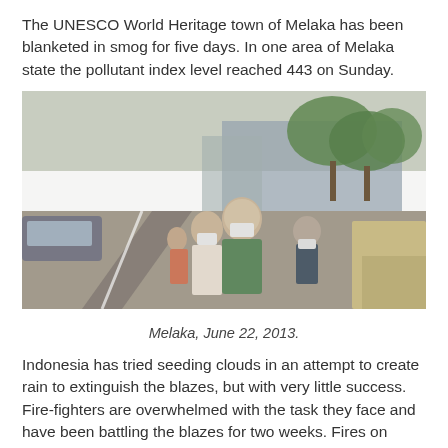The UNESCO World Heritage town of Melaka has been blanketed in smog for five days. In one area of Melaka state the pollutant index level reached 443 on Sunday.
[Figure (photo): People wearing face masks walking along a street in Melaka, Malaysia, with trees and buildings visible in a hazy, smoggy atmosphere. A couple walks in the foreground, with other pedestrians behind them.]
Melaka, June 22, 2013.
Indonesia has tried seeding clouds in an attempt to create rain to extinguish the blazes, but with very little success. Fire-fighters are overwhelmed with the task they face and have been battling the blazes for two weeks. Fires on peatland are notoriously